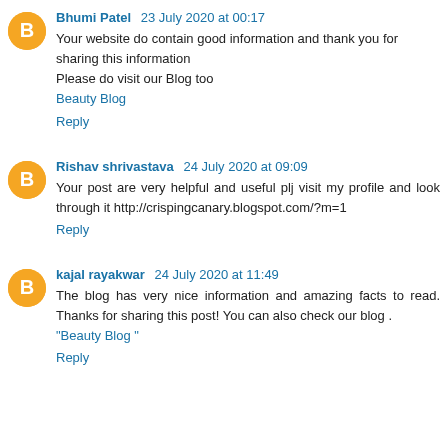Your website do contain good information and thank you for sharing this information
Please do visit our Blog too
Beauty Blog
Reply
Rishav shrivastava 24 July 2020 at 09:09
Your post are very helpful and useful plj visit my profile and look through it http://crispingcanary.blogspot.com/?m=1
Reply
kajal rayakwar 24 July 2020 at 11:49
The blog has very nice information and amazing facts to read. Thanks for sharing this post! You can also check our blog .
"Beauty Blog "
Reply